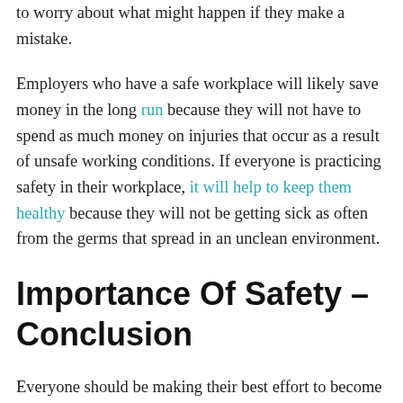to worry about what might happen if they make a mistake.
Employers who have a safe workplace will likely save money in the long run because they will not have to spend as much money on injuries that occur as a result of unsafe working conditions. If everyone is practicing safety in their workplace, it will help to keep them healthy because they will not be getting sick as often from the germs that spread in an unclean environment.
Importance Of Safety – Conclusion
Everyone should be making their best effort to become a success in his/her job and life. If someone cares for his family and friends, then he needs to practice safety in all